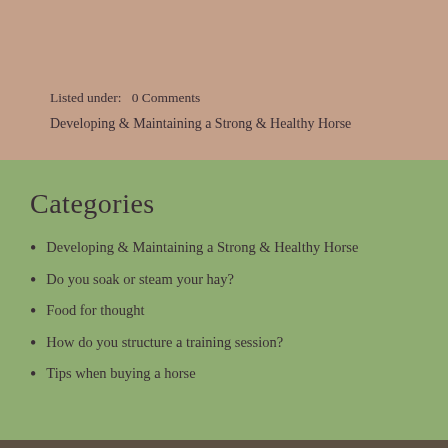Listed under:   0 Comments
Developing & Maintaining a Strong & Healthy Horse
Categories
Developing & Maintaining a Strong & Healthy Horse
Do you soak or steam your hay?
Food for thought
How do you structure a training session?
Tips when buying a horse